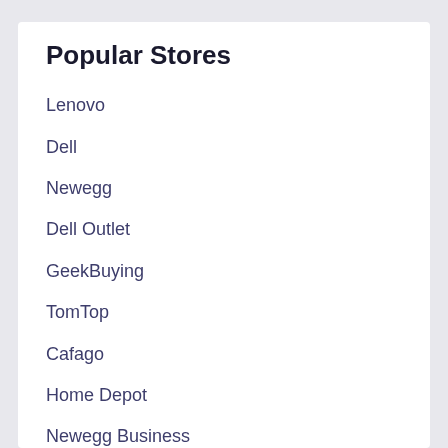Popular Stores
Lenovo
Dell
Newegg
Dell Outlet
GeekBuying
TomTop
Cafago
Home Depot
Newegg Business
DHGate
Microsoft Store
Monoprice